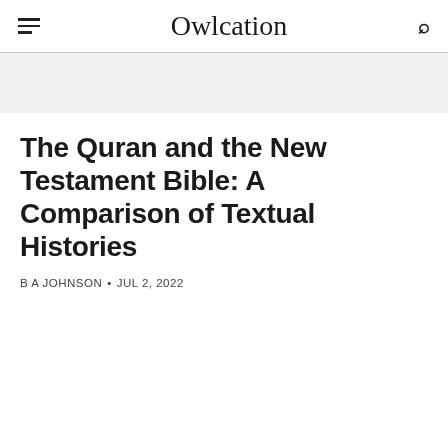Owlcation
The Quran and the New Testament Bible: A Comparison of Textual Histories
B A JOHNSON • JUL 2, 2022